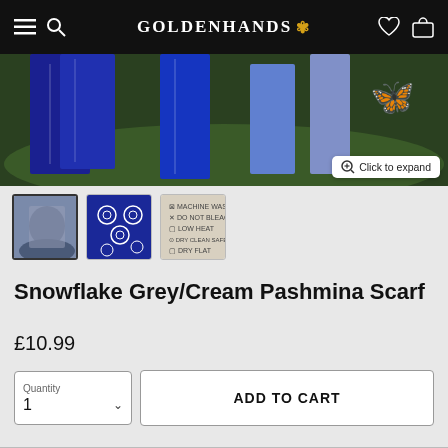GOLDENHANDS
[Figure (photo): Product hero image showing blue/navy pashmina scarves hanging outdoors among greenery, with a 'Click to expand' zoom button and golden butterfly watermark in top right]
[Figure (photo): Thumbnail 1: Person wearing grey/cream snowflake pashmina scarf outdoors]
[Figure (photo): Thumbnail 2: Close-up of blue snowflake pashmina scarf laid flat]
[Figure (photo): Thumbnail 3: Care label/washing instructions for the pashmina scarf]
Snowflake Grey/Cream Pashmina Scarf
£10.99